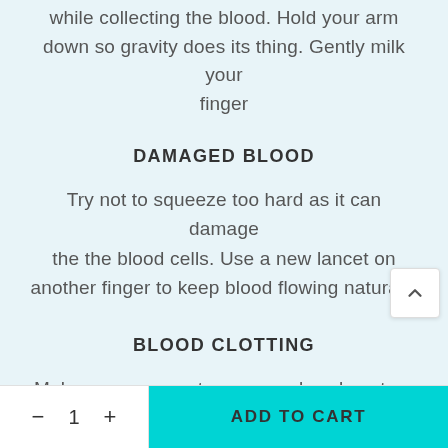while collecting the blood. Hold your arm down so gravity does its thing. Gently milk your finger
DAMAGED BLOOD
Try not to squeeze too hard as it can damage the the blood cells. Use a new lancet on another finger to keep blood flowing naturally
BLOOD CLOTTING
Make sure you post your samples close to th
ADD TO CART